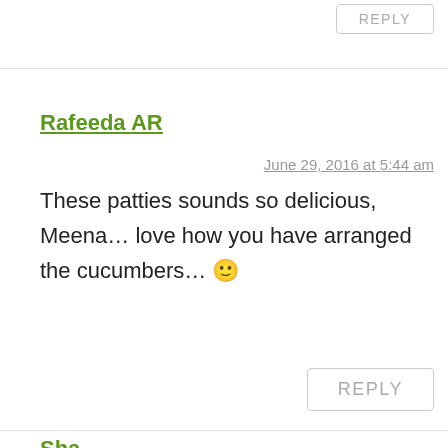REPLY
Rafeeda AR
June 29, 2016 at 5:44 am
These patties sounds so delicious, Meena… love how you have arranged the cucumbers… 🙂
REPLY